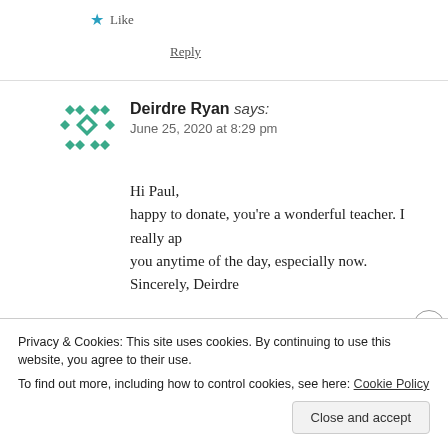★ Like
Reply
Deirdre Ryan says:
June 25, 2020 at 8:29 pm
Hi Paul,
happy to donate, you're a wonderful teacher. I really ap... you anytime of the day, especially now.
Sincerely, Deirdre
Privacy & Cookies: This site uses cookies. By continuing to use this website, you agree to their use.
To find out more, including how to control cookies, see here: Cookie Policy
Close and accept